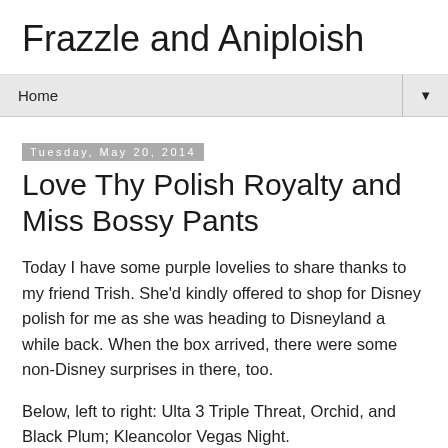Frazzle and Aniploish
Home
Tuesday, May 20, 2014
Love Thy Polish Royalty and Miss Bossy Pants
Today I have some purple lovelies to share thanks to my friend Trish. She'd kindly offered to shop for Disney polish for me as she was heading to Disneyland a while back. When the box arrived, there were some non-Disney surprises in there, too.
Below, left to right: Ulta 3 Triple Threat, Orchid, and Black Plum; Kleancolor Vegas Night.
[Figure (photo): Partial image visible at bottom of page, gray placeholder]